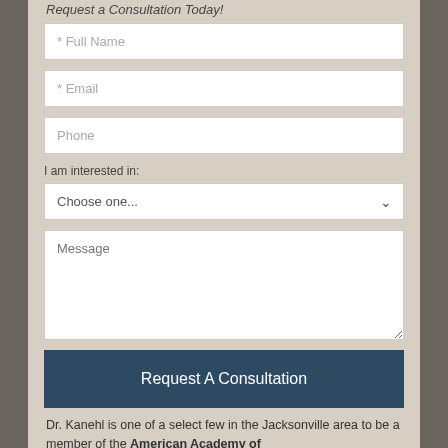Request a Consultation Today!
* Full Name
* Email
Phone
I am interested in:
Choose one...
Message
Request A Consultation
Dr. Kanehl is one of a select few in the Jacksonville area to be a member of the American Academy of